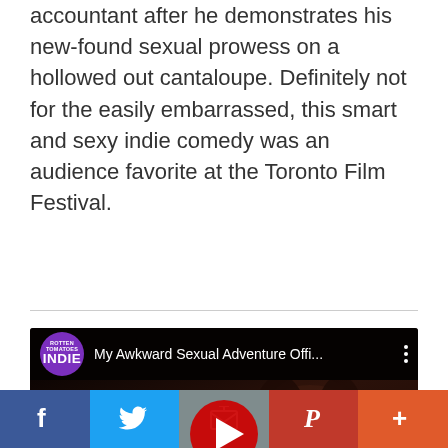accountant after he demonstrates his new-found sexual prowess on a hollowed out cantaloupe. Definitely not for the easily embarrassed, this smart and sexy indie comedy was an audience favorite at the Toronto Film Festival.
[Figure (screenshot): YouTube video thumbnail for 'My Awkward Sexual Adventure Offi...' with INDIE channel badge, showing a woman's face in dark cinematic lighting, with TRAILER HD overlay text and YouTube play button]
[Figure (infographic): Social sharing bar with Facebook, Twitter, Email, Pinterest, and More buttons]